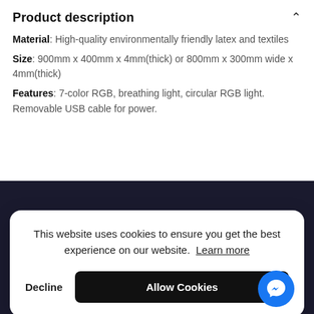Product description
Material: High-quality environmentally friendly latex and textiles
Size: 900mm x 400mm x 4mm(thick) or 800mm x 300mm wide x 4mm(thick)
Features: 7-color RGB, breathing light, circular RGB light. Removable USB cable for power.
[Figure (photo): Dark background image partially visible behind cookie consent banner, with a circular logo in top left]
This website uses cookies to ensure you get the best experience on our website. Learn more
Decline   Allow Cookies